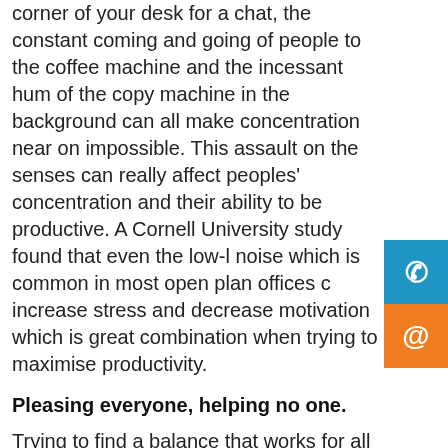customer issues such as employees sitting on the corner of your desk for a chat, the constant coming and going of people to the coffee machine and the incessant hum of the copy machine in the background can all make concentration near on impossible. This assault on the senses can really affect peoples' concentration and their ability to be productive. A Cornell University study found that even the low-level noise which is common in most open plan offices can increase stress and decrease motivation which is not a great combination when trying to maximise productivity.
Pleasing everyone, helping no one.
Trying to find a balance that works for all employees is also a major issue in open plan offices. Employees appreciate the ability to control the small aspects of their environment and tailor them to their specific desires. Having an office dedicated to you gives you the ability to customise it in whatever way feels right...